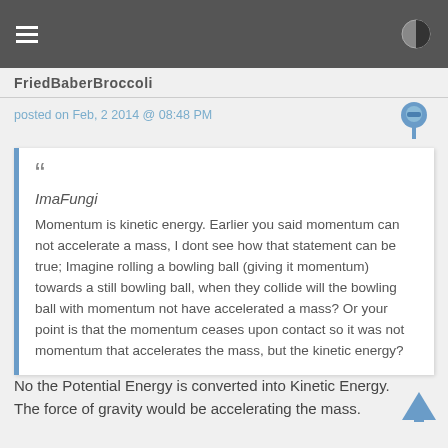FriedBaberBroccoli
posted on Feb, 2 2014 @ 08:48 PM
ImaFungi

Momentum is kinetic energy. Earlier you said momentum can not accelerate a mass, I dont see how that statement can be true; Imagine rolling a bowling ball (giving it momentum) towards a still bowling ball, when they collide will the bowling ball with momentum not have accelerated a mass? Or your point is that the momentum ceases upon contact so it was not momentum that accelerates the mass, but the kinetic energy?
No the Potential Energy is converted into Kinetic Energy. The force of gravity would be accelerating the mass.